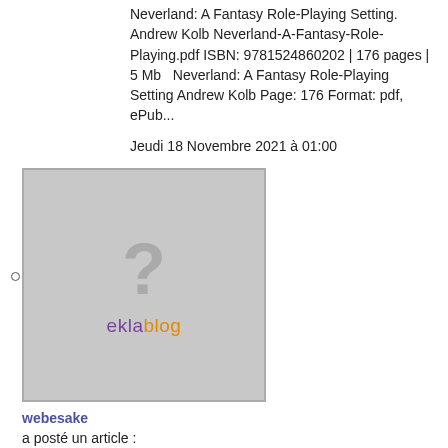Neverland: A Fantasy Role-Playing Setting. Andrew Kolb Neverland-A-Fantasy-Role-Playing.pdf ISBN: 9781524860202 | 176 pages | 5 Mb   Neverland: A Fantasy Role-Playing Setting Andrew Kolb Page: 176 Format: pdf, ePub...
Jeudi 18 Novembre 2021 à 01:00
[Figure (other): Placeholder image with grey background, large grey question mark, and 'eklablog' text logo (ekla in purple, blog in orange/yellow)]
webesake
a posté un article :
[Kindle] Mrs. Jeffries and the Alms of the Angel download
Mrs. Jeffries and the Alms of the Angel by Emily Brightwell Mrs. Jeffries and the Alms of the Angel Emily Brightwell Page: 288 Format: pdf, ePub, mobi, fb2 ISBN: 9780451492241 Publisher: Penguin Publishing Group   D...
Mardi 16 Novembre 2021 à 22:52
[Figure (other): Placeholder image with grey background and large grey question mark, partially visible at bottom of page]